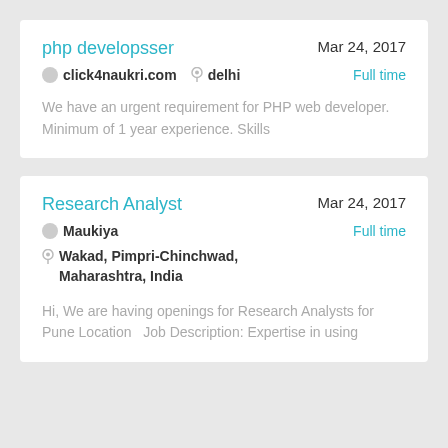php developsser
Mar 24, 2017
click4naukri.com   delhi
Full time
We have an urgent requirement for PHP web developer. Minimum of 1 year experience. Skills
Research Analyst
Mar 24, 2017
Maukiya
Full time
Wakad, Pimpri-Chinchwad, Maharashtra, India
Hi,  We are having openings for Research Analysts for Pune Location   Job Description: Expertise in using